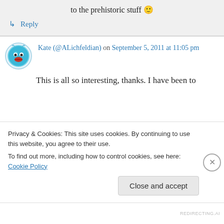to the prehistoric stuff 🙂
↳ Reply
Kate (@ALichfeldian) on September 5, 2011 at 11:05 pm
This is all so interesting, thanks. I have been to
Privacy & Cookies: This site uses cookies. By continuing to use this website, you agree to their use.
To find out more, including how to control cookies, see here: Cookie Policy
Close and accept